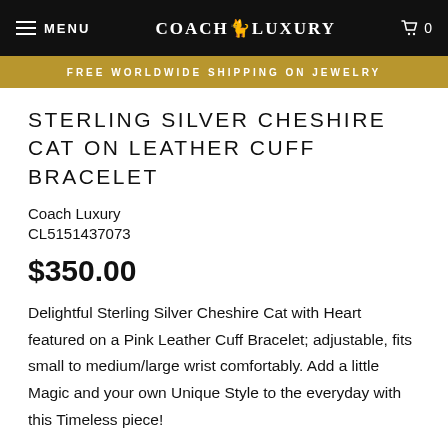MENU | COACH&LUXURY | 0
FREE WORLDWIDE SHIPPING ON JEWELRY
STERLING SILVER CHESHIRE CAT ON LEATHER CUFF BRACELET
Coach Luxury
CL5151437073
$350.00
Delightful Sterling Silver Cheshire Cat with Heart featured on a Pink Leather Cuff Bracelet; adjustable, fits small to medium/large wrist comfortably. Add a little Magic and your own Unique Style to the everyday with this Timeless piece!